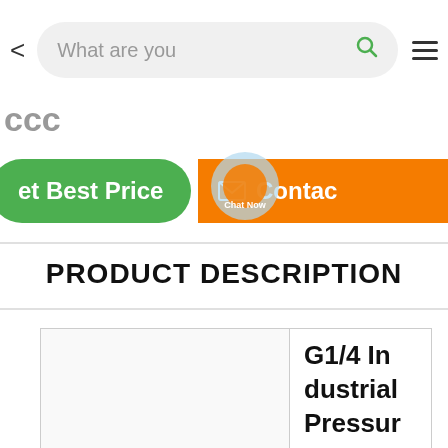What are you [searching]
ccc (price, partially visible)
Get Best Price | Contact
PRODUCT DESCRIPTION
|  | G1/4 Industrial Pressur... |
| --- | --- |
|  | G1/4 In dustrial Pressur |